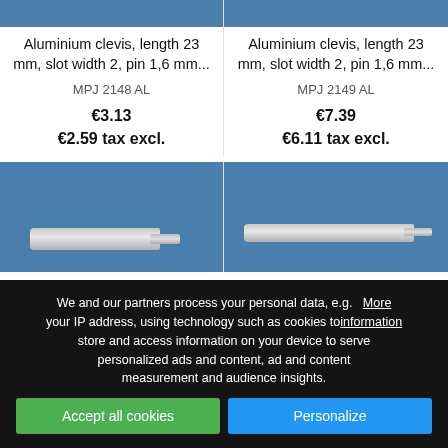[Figure (photo): Top portion of aluminium clevis product image, steel-blue background, left product card]
[Figure (photo): Top portion of aluminium clevis product image, steel-blue background, right product card]
Aluminium clevis, length 23 mm, slot width 2, pin 1,6 mm...
MPJ 2148 AL
€3.13
€2.59 tax excl.
Aluminium clevis, length 23 mm, slot width 2, pin 1,6 mm...
MPJ 2149 AL
€7.39
€6.11 tax excl.
[Figure (photo): Bottom aluminium clevis product image with metal pin/rod, steel-blue background, left card]
[Figure (photo): Bottom aluminium clevis product image with metal pin/rod, steel-blue background, right card]
We and our partners process your personal data, e.g. your IP address, using technology such as cookies to store and access information on your device to serve personalized ads and content, ad and content measurement and audience insights.
More information
Accept all cookies
Personalize